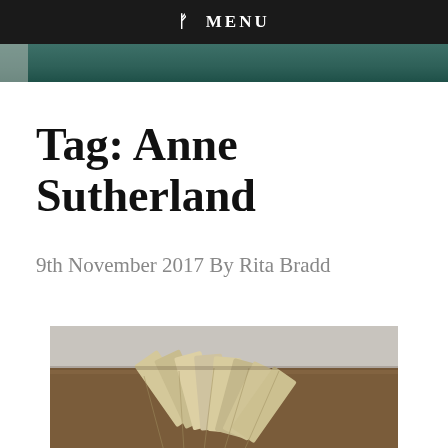ᚠ MENU
[Figure (photo): Partial view of a landscape or outdoor scene — teal/green tones, top banner image]
Tag: Anne Sutherland
9th November 2017 By Rita Bradd
[Figure (photo): Photo of fanned-out pamphlets or booklets arranged on a wooden table surface]